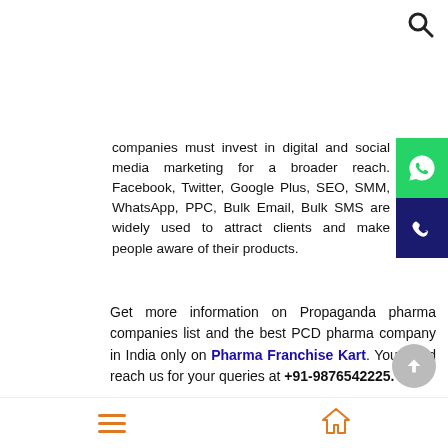companies must invest in digital and social media marketing for a broader reach. Facebook, Twitter, Google Plus, SEO, SMM, WhatsApp, PPC, Bulk Email, Bulk SMS are widely used to attract clients and make people aware of their products.
Get more information on Propaganda pharma companies list and the best PCD pharma company in India only on Pharma Franchise Kart. You could reach us for your queries at +91-9876542225.
Posted in Pharma blog | Tagged Pcd Based Ayurvedic Company, Pcd Franchise Company, Pcd Pharma Companies in Chandigarh, Pcd Pharma Franchise Company, Propaganda Pharma
menu | home